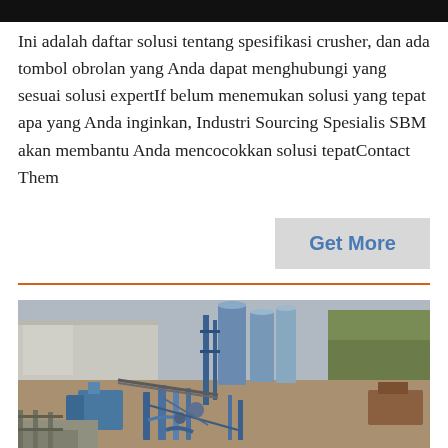Ini adalah daftar solusi tentang spesifikasi crusher, dan ada tombol obrolan yang Anda dapat menghubungi yang sesuai solusi expertIf belum menemukan solusi yang tepat apa yang Anda inginkan, Industri Sourcing Spesialis SBM akan membantu Anda mencocokkan solusi tepatContact Them
Get More
[Figure (photo): Aerial view of an industrial crusher/processing plant facility with blue silos, pipework, conveyors, and industrial buildings surrounded by trees and open ground.]